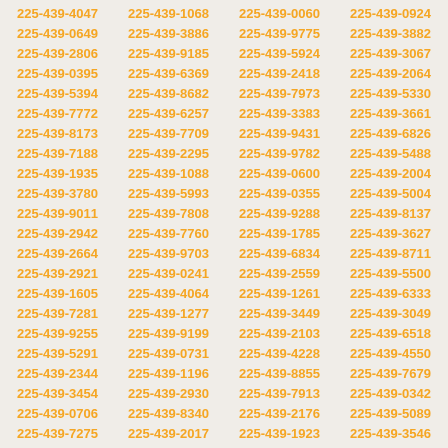225-439-4047 225-439-1068 225-439-0060 225-439-0924 225-439-0649 225-439-3886 225-439-9775 225-439-3882 225-439-2806 225-439-9185 225-439-5924 225-439-3067 225-439-0395 225-439-6369 225-439-2418 225-439-2064 225-439-5394 225-439-8682 225-439-7973 225-439-5330 225-439-7772 225-439-6257 225-439-3383 225-439-3661 225-439-8173 225-439-7709 225-439-9431 225-439-6826 225-439-7188 225-439-2295 225-439-9782 225-439-5488 225-439-1935 225-439-1088 225-439-0600 225-439-2004 225-439-3780 225-439-5993 225-439-0355 225-439-5004 225-439-9011 225-439-7808 225-439-9288 225-439-8137 225-439-2942 225-439-7760 225-439-1785 225-439-3627 225-439-2664 225-439-9703 225-439-6834 225-439-8711 225-439-2921 225-439-0241 225-439-2559 225-439-5500 225-439-1605 225-439-4064 225-439-1261 225-439-6333 225-439-7281 225-439-1277 225-439-3449 225-439-3049 225-439-9255 225-439-9199 225-439-2103 225-439-6518 225-439-5291 225-439-0731 225-439-4228 225-439-4550 225-439-2344 225-439-1196 225-439-8855 225-439-7679 225-439-3454 225-439-2930 225-439-7913 225-439-0342 225-439-0706 225-439-8340 225-439-2176 225-439-5089 225-439-7275 225-439-2017 225-439-1923 225-439-3546 225-439-5021 225-439-8970 225-439-5514 225-439-0517 225-439-4971 225-439-9049 225-439-4997 225-439-7012 225-439-3571 225-439-1619 225-439-1584 225-439-3422 225-439-7096 225-439-0473 225-439-6584 225-439-6598 225-439-3323 225-439-3485 225-439-1435 225-439-6908 225-439-5992 225-439-6135 225-439-6960 225-439-1758 225-439-1564 225-439-5667 225-439-2780 225-439-9437 225-439-9053 225-439-8132 225-439-8067 225-439-5610